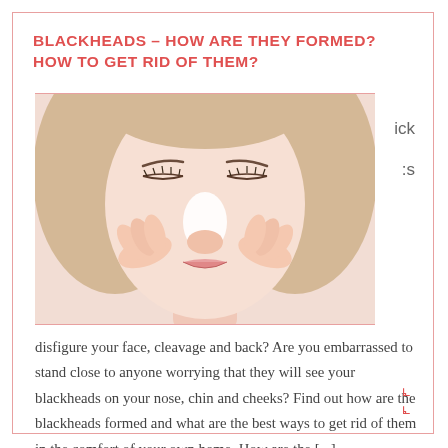BLACKHEADS – HOW ARE THEY FORMED? HOW TO GET RID OF THEM?
[Figure (photo): Woman with blonde hair pressing fingers on nose, applying a nose strip or squeezing blackheads]
disfigure your face, cleavage and back? Are you embarrassed to stand close to anyone worrying that they will see your blackheads on your nose, chin and cheeks? Find out how are the blackheads formed and what are the best ways to get rid of them in the comfort of your own home. How are the [...]